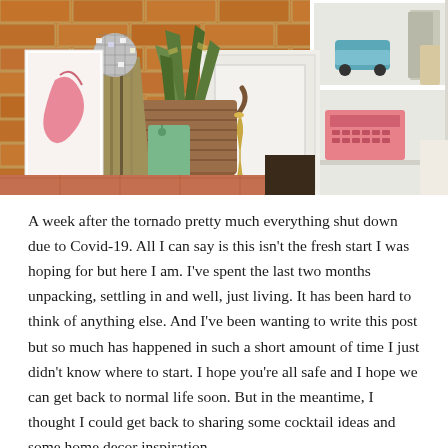[Figure (photo): Interior home scene showing a wicker basket with a snake plant, vinyl records leaning against a brick wall with a disco ball on top, a green tag, a brass vase, a white bookshelf with a teal toy car and a pink typewriter, and other decorative items on a terracotta brick floor.]
A week after the tornado pretty much everything shut down due to Covid-19. All I can say is this isn't the fresh start I was hoping for but here I am. I've spent the last two months unpacking, settling in and well, just living. It has been hard to think of anything else. And I've been wanting to write this post but so much has happened in such a short amount of time I just didn't know where to start. I hope you're all safe and I hope we can get back to normal life soon. But in the meantime, I thought I could get back to sharing some cocktail ideas and some home decor inspiration.